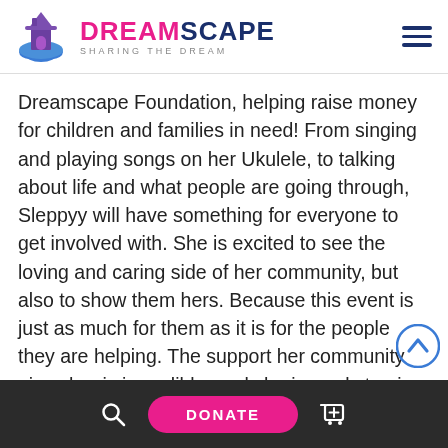DREAMSCAPE — SHARING THE DREAM
Dreamscape Foundation, helping raise money for children and families in need! From singing and playing songs on her Ukulele, to talking about life and what people are going through, Sleppyy will have something for everyone to get involved with. She is excited to see the loving and caring side of her community, but also to show them hers. Because this event is just as much for them as it is for the people they are helping. The support her community gives her is incredible, and she is ready to give back to them as well.  As a thank you, all donors will receive a gift and be entered into a raffle drawing for one
DONATE